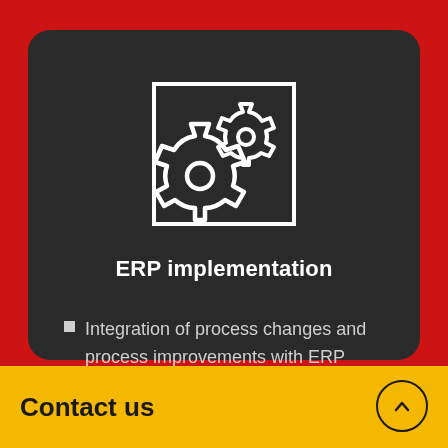[Figure (illustration): Two interlocking gear cogs icon inside a square border outline, white on dark background]
ERP implementation
Integration of process changes and process improvements with ERP platform – creating the 'Digital Core'.
Contact us